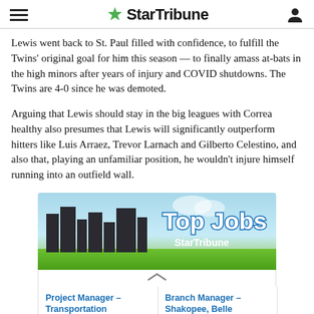StarTribune
Lewis went back to St. Paul filled with confidence, to fulfill the Twins' original goal for him this season — to finally amass at-bats in the high minors after years of injury and COVID shutdowns. The Twins are 4-0 since he was demoted.
Arguing that Lewis should stay in the big leagues with Correa healthy also presumes that Lewis will significantly outperform hitters like Luis Arraez, Trevor Larnach and Gilberto Celestino, and also that, playing an unfamiliar position, he wouldn't injure himself running into an outfield wall.
[Figure (infographic): Top Jobs advertisement banner for StarTribune showing stylized city buildings silhouette with green grass, 'Top Jobs' text in white with blue outline, StarTribune logo. Below the banner are two job listings: 'Project Manager – Transportation' at Scott County, and 'Branch Manager – Shakopee, Belle Plaine, Jordan' at Scott County.]